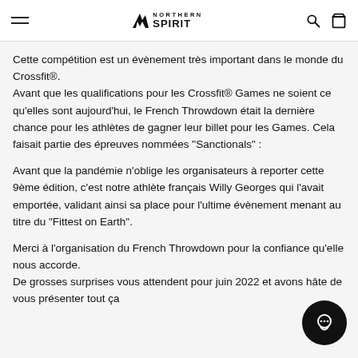Northern Spirit — navigation header with hamburger menu, logo, search and cart icons
Cette compétition est un évènement très important dans le monde du Crossfit®.
Avant que les qualifications pour les Crossfit® Games ne soient ce qu'elles sont aujourd'hui, le French Throwdown était la dernière chance pour les athlètes de gagner leur billet pour les Games. Cela faisait partie des épreuves nommées "Sanctionals" :
Avant que la pandémie n'oblige les organisateurs à reporter cette 9ème édition, c'est notre athlète français Willy Georges qui l'avait emportée, validant ainsi sa place pour l'ultime évènement menant au titre du "Fittest on Earth".
Merci à l'organisation du French Throwdown pour la confiance qu'elle nous accorde.
De grosses surprises vous attendent pour juin 2022 et avons hâte de vous présenter tout ça